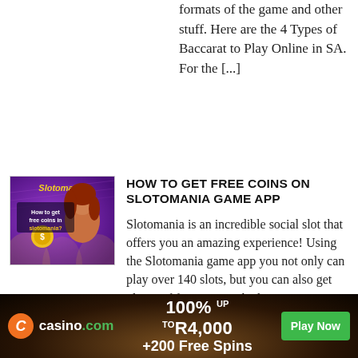might be helpful about online formats of the game and other stuff. Here are the 4 Types of Baccarat to Play Online in SA. For the [...]
[Figure (illustration): Slotomania game app promotional image with cartoon woman and purple background, text 'How to get free coins in slotomania?']
HOW TO GET FREE COINS ON SLOTOMANIA GAME APP
Slotomania is an incredible social slot that offers you an amazing experience! Using the Slotomania game app you not only can play over 140 slots, but you can also get plenty of free coins to kick-start your piggy bank! You can play Slotomania social gaming app across various
[Figure (infographic): Casino.com banner advertisement: orange logo circle with 'C', casino.com text, 100% UP TO R4,000 +200 Free Spins offer, green Play Now button]